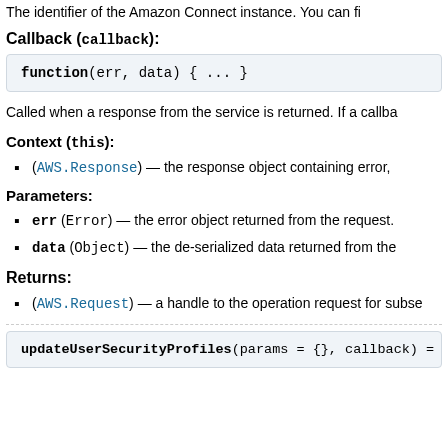The identifier of the Amazon Connect instance. You can fi
Callback (callback):
Called when a response from the service is returned. If a callba
Context (this):
(AWS.Response) — the response object containing error,
Parameters:
err (Error) — the error object returned from the request.
data (Object) — the de-serialized data returned from the
Returns:
(AWS.Request) — a handle to the operation request for subse